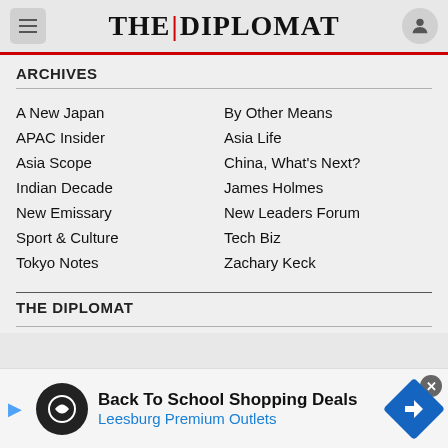THE DIPLOMAT
ARCHIVES
A New Japan
By Other Means
APAC Insider
Asia Life
Asia Scope
China, What's Next?
Indian Decade
James Holmes
New Emissary
New Leaders Forum
Sport & Culture
Tech Biz
Tokyo Notes
Zachary Keck
THE DIPLOMAT
Back To School Shopping Deals
Leesburg Premium Outlets